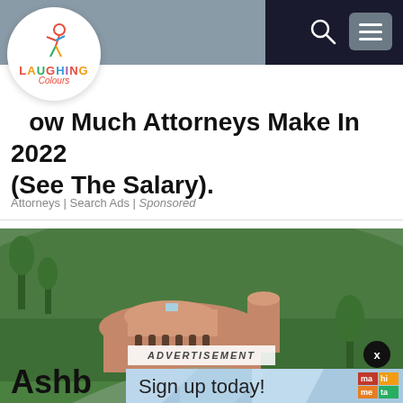[Figure (logo): Laughing Colours website logo — circular white badge with a cartoon figure and multicolored text]
How Much Attorneys Make In 2022 (See The Salary).
Attorneys | Search Ads | Sponsored
[Figure (photo): Aerial photo of a large round pink/terracotta modernist building surrounded by green hillside landscape]
ADVERTISEMENT
[Figure (infographic): Advertisement banner with blue geometric background reading 'Sign up today!' with a mamta-branded logo grid]
Ashb